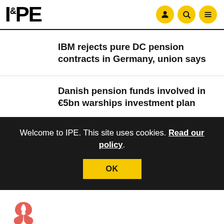IPE
IBM rejects pure DC pension contracts in Germany, union says
Danish pension funds involved in €5bn warships investment plan
Welcome to IPE. This site uses cookies. Read our policy.
OK
[Figure (logo): Red triangular/fan logo at bottom left]